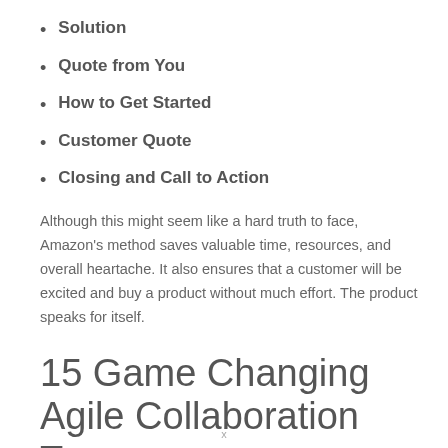Solution
Quote from You
How to Get Started
Customer Quote
Closing and Call to Action
Although this might seem like a hard truth to face, Amazon's method saves valuable time, resources, and overall heartache. It also ensures that a customer will be excited and buy a product without much effort. The product speaks for itself.
15 Game Changing Agile Collaboration Team